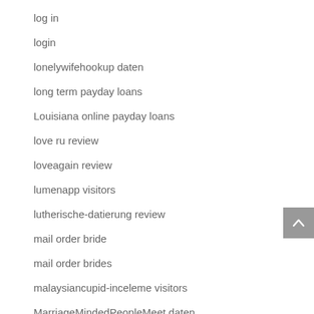log in
login
lonelywifehookup daten
long term payday loans
Louisiana online payday loans
love ru review
loveagain review
lumenapp visitors
lutherische-datierung review
mail order bride
mail order brides
malaysiancupid-inceleme visitors
MarriageMindedPeopleMeet daten
marriagemindedpeoplemeet review